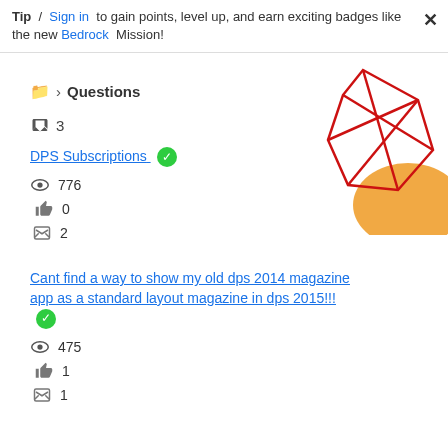Tip / Sign in to gain points, level up, and earn exciting badges like the new Bedrock Mission!
Questions
↩ 3
DPS Subscriptions ✓
👁 776
👍 0
↩ 2
Cant find a way to show my old dps 2014 magazine app as a standard layout magazine in dps 2015!!! ✓
👁 475
👍 1
↩ 1